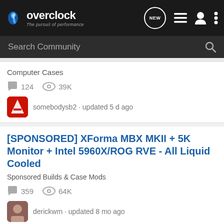overclock - The pursuit of performance
Search Community
Computer Cases
124  39K
somebodysb2 · updated 5 d ago
[SPONSORED] XForma MBX MKII + 5K Monitor + Intel 5960X/ROG RVE - All Liquid Cooled
Sponsored Builds & Case Mods
359  64K
derickwm · updated 8 mo ago
e6600 400x8=3.6